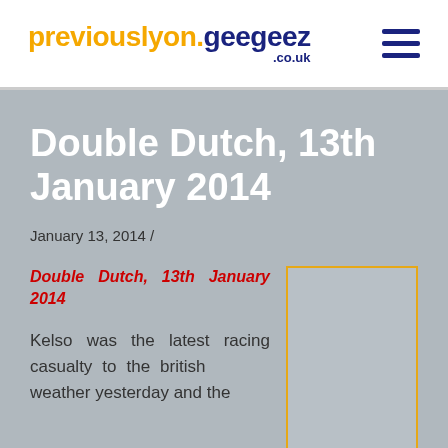previouslyon.geegeez.co.uk
Double Dutch, 13th January 2014
January 13, 2014 /
Double Dutch, 13th January 2014
Kelso was the latest racing casualty to the british weather yesterday and the